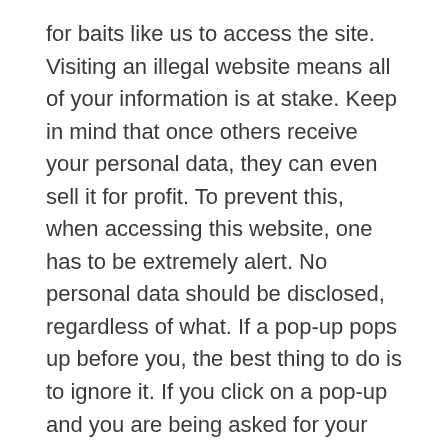for baits like us to access the site. Visiting an illegal website means all of your information is at stake. Keep in mind that once others receive your personal data, they can even sell it for profit. To prevent this, when accessing this website, one has to be extremely alert. No personal data should be disclosed, regardless of what. If a pop-up pops up before you, the best thing to do is to ignore it. If you click on a pop-up and you are being asked for your email ID or phone number, don't give it out at any cost. Many hackers in black hats are waiting for someone to make that mistake. They can even hack into your phone and email until it's done.
Phishing attacks: The O2cinemas website, like every other website, also makes money by